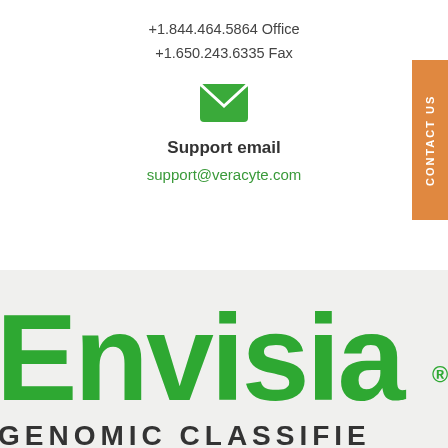+1.844.464.5864 Office
+1.650.243.6335 Fax
[Figure (illustration): Green envelope/email icon]
Support email
support@veracyte.com
[Figure (logo): Envisia genomic classifier logo with large green 'Envisia' text and 'GENOMIC CLASSIFIER' text below on grey background]